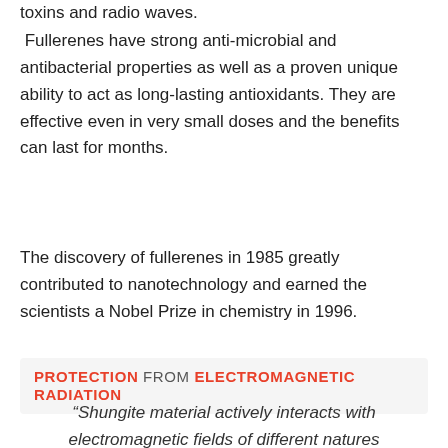toxins and radio waves.
Fullerenes have strong anti-microbial and antibacterial properties as well as a proven unique ability to act as long-lasting antioxidants. They are effective even in very small doses and the benefits can last for months.
The discovery of fullerenes in 1985 greatly contributed to nanotechnology and earned the scientists a Nobel Prize in chemistry in 1996.
PROTECTION FROM ELECTROMAGNETIC RADIATION
“Shungite material actively interacts with electromagnetic fields of different natures